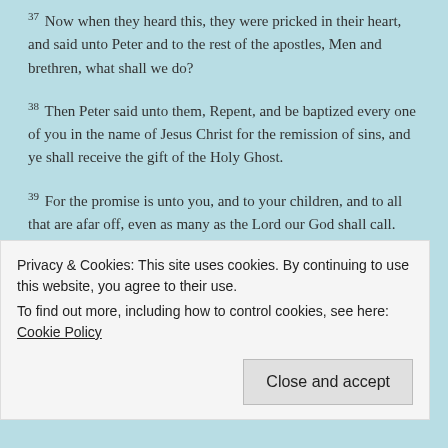37 Now when they heard this, they were pricked in their heart, and said unto Peter and to the rest of the apostles, Men and brethren, what shall we do?
38 Then Peter said unto them, Repent, and be baptized every one of you in the name of Jesus Christ for the remission of sins, and ye shall receive the gift of the Holy Ghost.
39 For the promise is unto you, and to your children, and to all that are afar off, even as many as the Lord our God shall call.
40 And with many other words did he testify and
Privacy & Cookies: This site uses cookies. By continuing to use this website, you agree to their use.
To find out more, including how to control cookies, see here: Cookie Policy
Close and accept